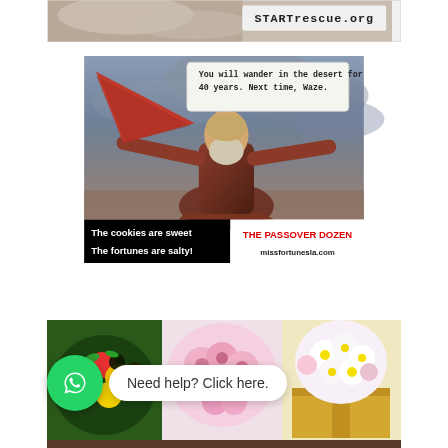[Figure (photo): Top advertisement image for STARTrescue.org showing a dog, with the website URL STARTrescue.org in the top-right corner]
[Figure (photo): Meme image showing a Moses-like figure with arms outstretched holding a large red triangular object (fortune cookie shape), with a fortune text bubble reading 'You will wander in the desert for 40 years. Next time, Waze.' The bottom banner has black background on the left with white text 'The cookies are sweet / The fortunes are salty!' and white background on the right with red bold text 'THE PASSOVER DOZEN' and black text 'missfortunesla.com']
[Figure (photo): Advertisement image showing floral and fruit gift arrangements: a fruit arrangement on the left, pink roses in the center, and a flower box on the right, with a WhatsApp icon and chat bubble overlay reading 'Need help? Click here.']